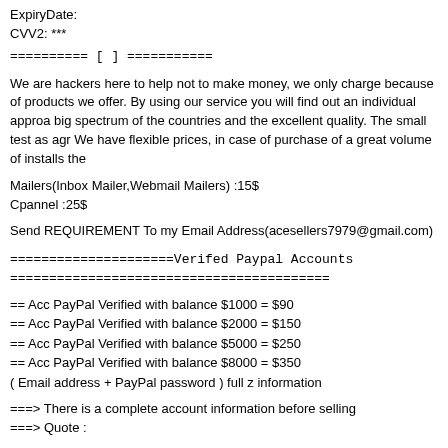ExpiryDate:
CVV2: ***
========== [ ] ===========
We are hackers here to help not to make money, we only charge because of products we offer. By using our service you will find out an individual approach big spectrum of the countries and the excellent quality. The small test as agr We have flexible prices, in case of purchase of a great volume of installs the
Mailers(Inbox Mailer,Webmail Mailers) :15$
Cpannel :25$
Send REQUIREMENT To my Email Address(acesellers7979@gmail.com)
=====================Verifed Paypal Accounts
=========================================
== Acc PayPal Verified with balance $1000 = $90
== Acc PayPal Verified with balance $2000 = $150
== Acc PayPal Verified with balance $5000 = $250
== Acc PayPal Verified with balance $8000 = $350
( Email address + PayPal password ) full z information
===> There is a complete account information before selling
===> Quote :
Username: username@aol.com